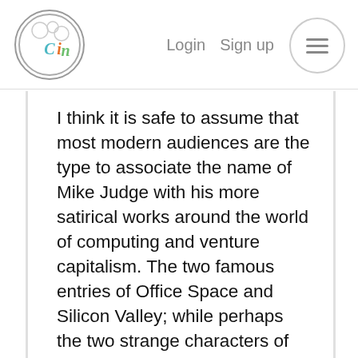Cinelo — Login  Sign up
I think it is safe to assume that most modern audiences are the type to associate the name of Mike Judge with his more satirical works around the world of computing and venture capitalism. The two famous entries of Office Space and Silicon Valley; while perhaps the two strange characters of Beavis and Butt-Head have somewhat fallen into their niche areas of the world and somewhat forgotten about as time has passed. Those that remember Mike Judge for these great characters will remember a different time in adult animation, where the world wasn't taken so seriously, and people didn't get offended so easily. Where humour